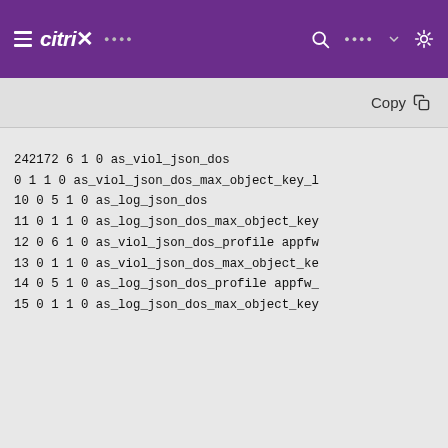≡ citrix· ···· 🔍 ···· ∨ ☀
Copy
242172 6 1 0 as_viol_json_dos
0 1 1 0 as_viol_json_dos_max_object_key_l
10 0 5 1 0 as_log_json_dos
11 0 1 1 0 as_log_json_dos_max_object_key
12 0 6 1 0 as_viol_json_dos_profile appfw
13 0 1 1 0 as_viol_json_dos_max_object_ke
14 0 5 1 0 as_log_json_dos_profile appfw_
15 0 1 1 0 as_log_json_dos_max_object_key
JSONMaxArrayLength 参数
JSONMaxArrayLength参数 指定限制 ["a","d","f","g","h","i"] ["o","E"...